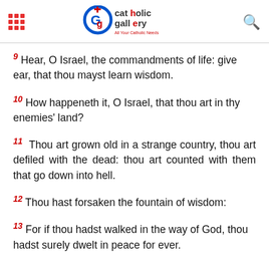Catholic Gallery — All Your Catholic Needs
9 Hear, O Israel, the commandments of life: give ear, that thou mayst learn wisdom.
10 How happeneth it, O Israel, that thou art in thy enemies' land?
11 Thou art grown old in a strange country, thou art defiled with the dead: thou art counted with them that go down into hell.
12 Thou hast forsaken the fountain of wisdom:
13 For if thou hadst walked in the way of God, thou hadst surely dwelt in peace for ever.